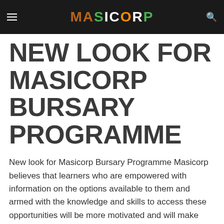MASICORP
NEW LOOK FOR MASICORP BURSARY PROGRAMME
New look for Masicorp Bursary Programme Masicorp believes that learners who are empowered with information on the options available to them and armed with the knowledge and skills to access these opportunities will be more motivated and will make